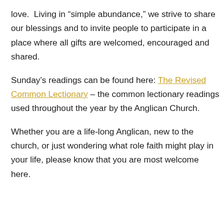love.  Living in “simple abundance,” we strive to share our blessings and to invite people to participate in a place where all gifts are welcomed, encouraged and shared.
Sunday’s readings can be found here: The Revised Common Lectionary – the common lectionary readings used throughout the year by the Anglican Church.
Whether you are a life-long Anglican, new to the church, or just wondering what role faith might play in your life, please know that you are most welcome here.